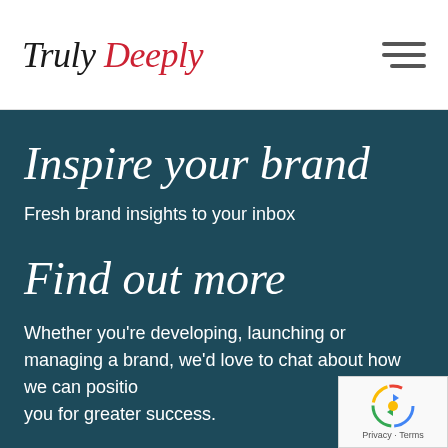Truly Deeply
Inspire your brand
Fresh brand insights to your inbox
Find out more
Whether you're developing, launching or managing a brand, we'd love to chat about how we can position you for greater success.
[Figure (logo): reCAPTCHA badge with blue circular arrow logo and Privacy · Terms text]